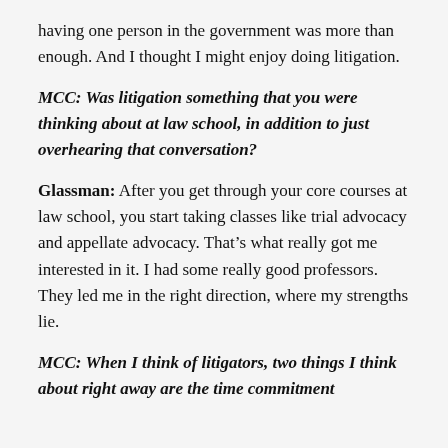having one person in the government was more than enough. And I thought I might enjoy doing litigation.
MCC: Was litigation something that you were thinking about at law school, in addition to just overhearing that conversation?
Glassman: After you get through your core courses at law school, you start taking classes like trial advocacy and appellate advocacy. That’s what really got me interested in it. I had some really good professors. They led me in the right direction, where my strengths lie.
MCC: When I think of litigators, two things I think about right away are the time commitment